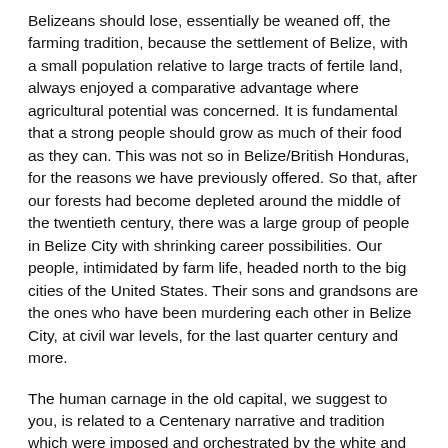Belizeans should lose, essentially be weaned off, the farming tradition, because the settlement of Belize, with a small population relative to large tracts of fertile land, always enjoyed a comparative advantage where agricultural potential was concerned. It is fundamental that a strong people should grow as much of their food as they can. This was not so in Belize/British Honduras, for the reasons we have previously offered. So that, after our forests had become depleted around the middle of the twentieth century, there was a large group of people in Belize City with shrinking career possibilities. Our people, intimidated by farm life, headed north to the big cities of the United States. Their sons and grandsons are the ones who have been murdering each other in Belize City, at civil war levels, for the last quarter century and more.
The human carnage in the old capital, we suggest to you, is related to a Centenary narrative and tradition which were imposed and orchestrated by the white and brown class in Belize. There was a reason why Emancipation Day was never celebrated in Belize, just as there was a reason the settlement's official Centenary history claimed that black slaves had fought in defence of their white masters in September of 1798. The reason the history of Belize featured Centenary and ignored Emancipation was because the black masses at the base of the socio-economic pyramid had no voice in the official narrative and tradition here. Belizeans had no political power or media to put forward their own perspective.